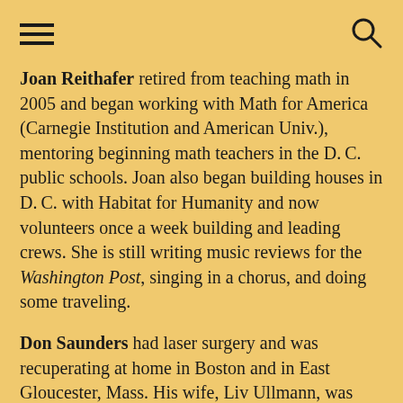Joan Reithafer retired from teaching math in 2005 and began working with Math for America (Carnegie Institution and American Univ.), mentoring beginning math teachers in the D.C. public schools. Joan also began building houses in D.C. with Habitat for Humanity and now volunteers once a week building and leading crews. She is still writing music reviews for the Washington Post, singing in a chorus, and doing some traveling.
Don Saunders had laser surgery and was recuperating at home in Boston and in East Gloucester, Mass. His wife, Liv Ullmann, was traveling to Scandinavia to direct a stage adaptation of an Ingmar Bergman film, Private Confessions.
George Rolli…